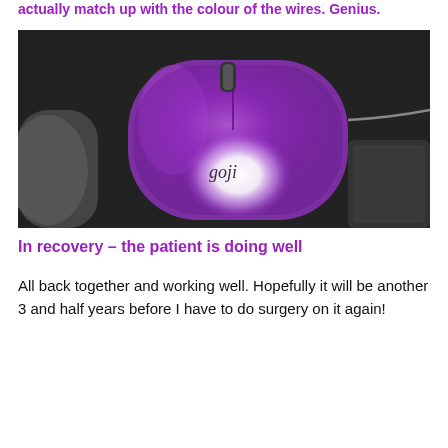actually match up with the colour of the wires. Genius.
[Figure (photo): A purple Goji branded computer mouse with a glowing white light underneath, sitting on a dark fabric surface with a cable extending to the right.]
In recovery – the patient is doing well
All back together and working well. Hopefully it will be another 3 and half years before I have to do surgery on it again!